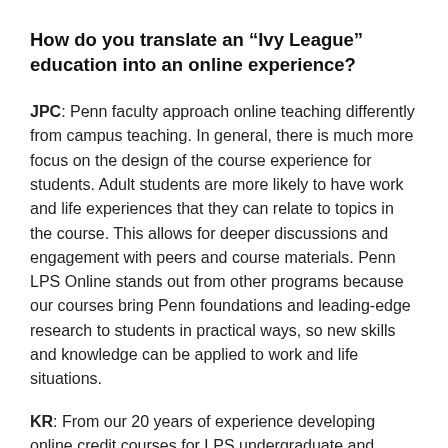How do you translate an “Ivy League” education into an online experience?
JPC: Penn faculty approach online teaching differently from campus teaching. In general, there is much more focus on the design of the course experience for students. Adult students are more likely to have work and life experiences that they can relate to topics in the course. This allows for deeper discussions and engagement with peers and course materials. Penn LPS Online stands out from other programs because our courses bring Penn foundations and leading-edge research to students in practical ways, so new skills and knowledge can be applied to work and life situations.
KR: From our 20 years of experience developing online credit courses for LPS undergraduate and graduate